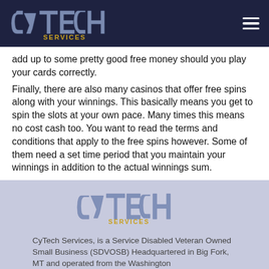CyTech Services [logo] [hamburger menu]
add up to some pretty good free money should you play your cards correctly.
Finally, there are also many casinos that offer free spins along with your winnings. This basically means you get to spin the slots at your own pace. Many times this means no cost cash too. You want to read the terms and conditions that apply to the free spins however. Some of them need a set time period that you maintain your winnings in addition to the actual winnings sum.
[Figure (logo): CyTech Services logo on lavender background]
CyTech Services, is a Service Disabled Veteran Owned Small Business (SDVOSB) Headquartered in Big Fork, MT and operated from the Washington